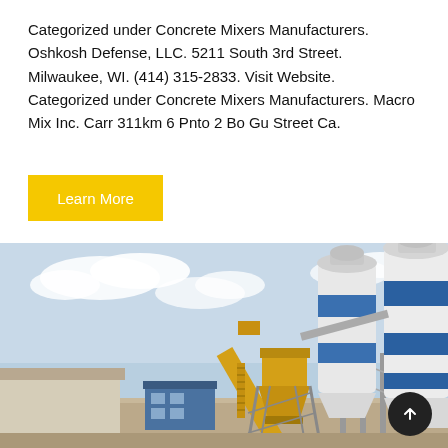Categorized under Concrete Mixers Manufacturers. Oshkosh Defense, LLC. 5211 South 3rd Street. Milwaukee, WI. (414) 315-2833. Visit Website. Categorized under Concrete Mixers Manufacturers. Macro Mix Inc. Carr 311km 6 Pnto 2 Bo Gu Street Ca.
Learn More
[Figure (photo): Industrial concrete batching plant with large white and blue striped silos, a yellow mixer/conveyor structure, and a small blue building on site under a cloudy sky.]